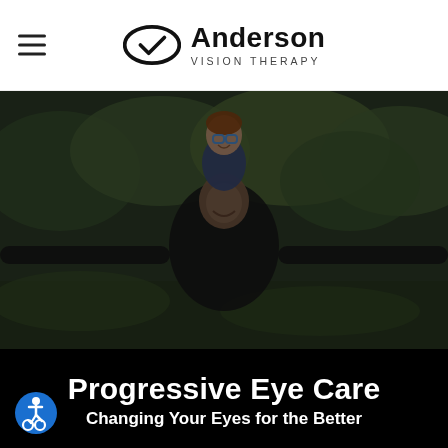[Figure (logo): Anderson Vision Therapy logo with eye/checkmark icon and hamburger menu on left]
[Figure (photo): Dark-overlay photo of a father and young boy with glasses outdoors in a park; boy is sitting on father's shoulders and father has arms outstretched]
Progressive Eye Care
Changing Your Eyes for the Better